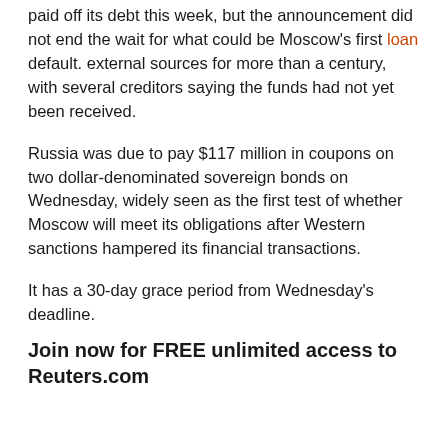paid off its debt this week, but the announcement did not end the wait for what could be Moscow's first loan default. external sources for more than a century, with several creditors saying the funds had not yet been received.
Russia was due to pay $117 million in coupons on two dollar-denominated sovereign bonds on Wednesday, widely seen as the first test of whether Moscow will meet its obligations after Western sanctions hampered its financial transactions.
It has a 30-day grace period from Wednesday's deadline.
Join now for FREE unlimited access to Reuters.com
Register
Sanctions imposed following Moscow's invasion of Ukraine have